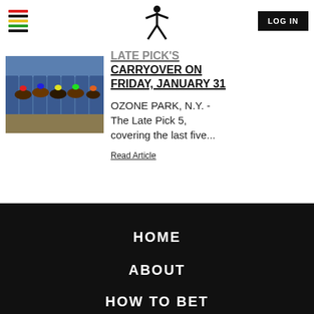Navigation bar with hamburger menu, X logo, and LOG IN button
[Figure (photo): Horse racing photo showing multiple horses at the starting gate, blue gates visible, jockeys in colorful silks]
LATE PICK 5 CARRYOVER ON FRIDAY, JANUARY 31
OZONE PARK, N.Y. - The Late Pick 5, covering the last five...
Read Article
HOME
ABOUT
HOW TO BET